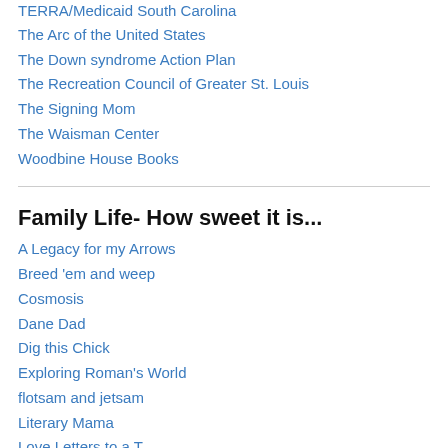TERRA/Medicaid South Carolina
The Arc of the United States
The Down syndrome Action Plan
The Recreation Council of Greater St. Louis
The Signing Mom
The Waisman Center
Woodbine House Books
Family Life- How sweet it is...
A Legacy for my Arrows
Breed 'em and weep
Cosmosis
Dane Dad
Dig this Chick
Exploring Roman's World
flotsam and jetsam
Literary Mama
Love Letters to a T
Love that Max